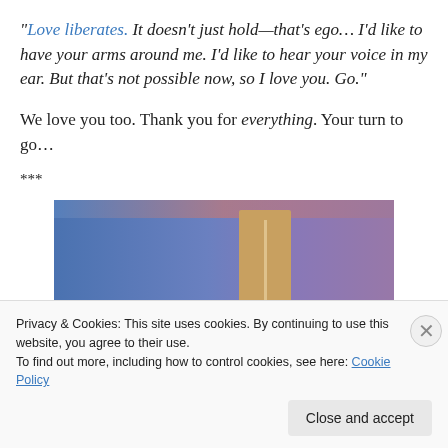“Love liberates. It doesn’t just hold—that’s ego… I’d like to have your arms around me. I’d like to hear your voice in my ear. But that’s not possible now, so I love you. Go.”
We love you too. Thank you for everything. Your turn to go…
***
[Figure (photo): Partial image showing a blue-to-purple gradient background with a tan/beige vertical rectangular shape in the center-right area, resembling a door or abstract figure.]
Privacy & Cookies: This site uses cookies. By continuing to use this website, you agree to their use.
To find out more, including how to control cookies, see here: Cookie Policy
Close and accept